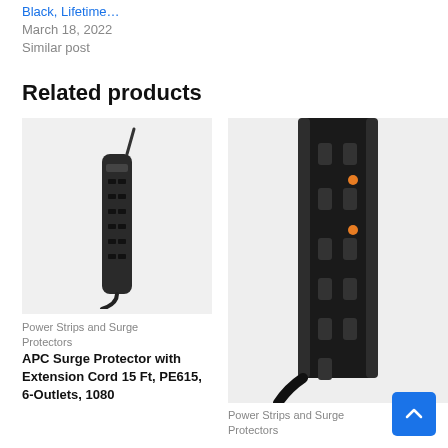Black, Lifetime…
March 18, 2022
Similar post
Related products
[Figure (photo): APC surge protector power strip with extension cord, black, vertical orientation with 6 outlets]
Power Strips and Surge Protectors
APC Surge Protector with Extension Cord 15 Ft, PE615, 6-Outlets, 1080
[Figure (photo): Close-up of a black surge protector/power strip showing multiple outlets, side view]
Power Strips and Surge Protectors